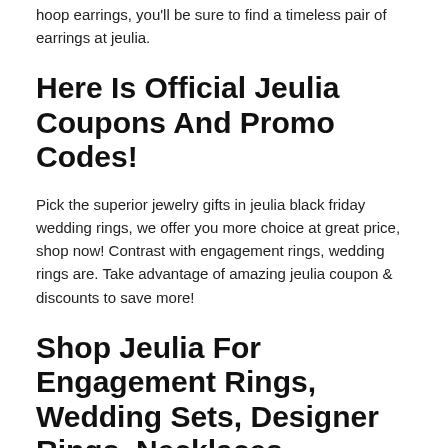hoop earrings, you'll be sure to find a timeless pair of earrings at jeulia.
Here Is Official Jeulia Coupons And Promo Codes!
Pick the superior jewelry gifts in jeulia black friday wedding rings, we offer you more choice at great price, shop now! Contrast with engagement rings, wedding rings are. Take advantage of amazing jeulia coupon & discounts to save more!
Shop Jeulia For Engagement Rings, Wedding Sets, Designer Rings, Necklaces, Earrings, Bracelets & Gifts At Great Price.